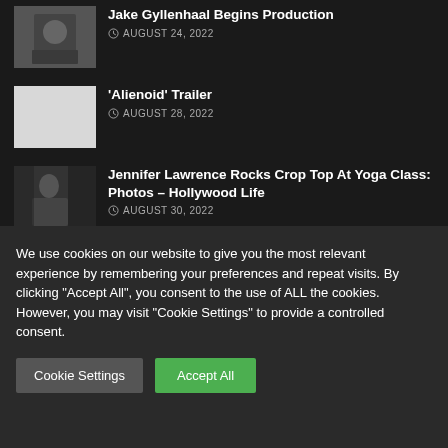Jake Gyllenhaal Begins Production
AUGUST 24, 2022
'Alienoid' Trailer
AUGUST 28, 2022
Jennifer Lawrence Rocks Crop Top At Yoga Class: Photos – Hollywood Life
AUGUST 30, 2022
'Section 8' Exclusive Trailer
We use cookies on our website to give you the most relevant experience by remembering your preferences and repeat visits. By clicking "Accept All", you consent to the use of ALL the cookies. However, you may visit "Cookie Settings" to provide a controlled consent.
Cookie Settings
Accept All